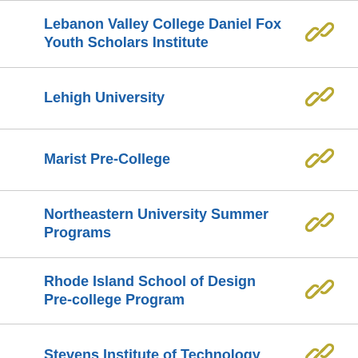Lebanon Valley College Daniel Fox Youth Scholars Institute
Lehigh University
Marist Pre-College
Northeastern University Summer Programs
Rhode Island School of Design Pre-college Program
Stevens Institute of Technology
Summer Study Programs (Penn State